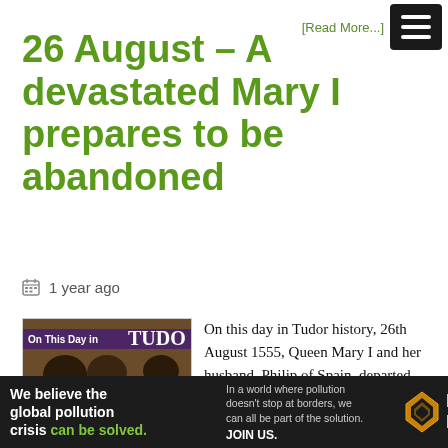[Read More...]
26 August – A devastated Mary I prepares to be abandoned
1 year ago
[Figure (photo): Thumbnail image for Tudor history article showing historical portraits with purple banner overlays reading 'MARY I prepares be ABANDONED' and 'On This Day in TUDO[R]']
On this day in Tudor history, 26th August 1555, Queen Mary I and her husband, Philip of Spain, departed from Whitehall in preparation for Philip's return to the Low Countries.
This was an awful time for Mary I. She had just come out of confinement after months of believing she was
[Figure (other): Advertisement banner for Pure Earth: 'We believe the global pollution crisis can be solved. In a world where pollution doesn't stop at borders, we can all be part of the solution. JOIN US.' with Pure Earth logo (diamond shape in gold/amber).]